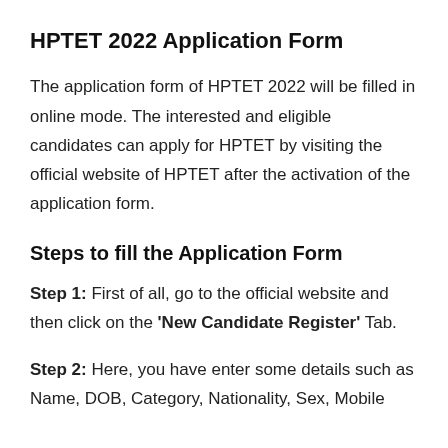HPTET 2022 Application Form
The application form of HPTET 2022 will be filled in online mode. The interested and eligible candidates can apply for HPTET by visiting the official website of HPTET after the activation of the application form.
Steps to fill the Application Form
Step 1: First of all, go to the official website and then click on the 'New Candidate Register' Tab.
Step 2: Here, you have enter some details such as Name, DOB, Category, Nationality, Sex, Mobile